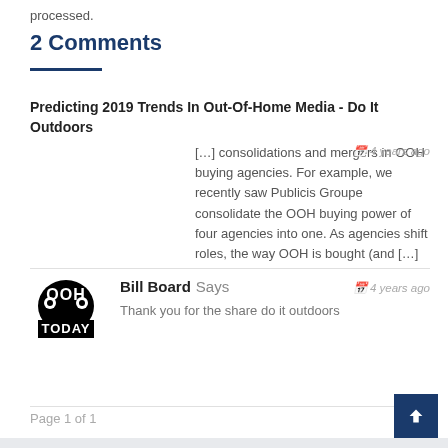processed.
2 Comments
Predicting 2019 Trends In Out-Of-Home Media - Do It Outdoors
[…] consolidations and mergers in OOH buying agencies. For example, we recently saw Publicis Groupe consolidate the OOH buying power of four agencies into one. As agencies shift roles, the way OOH is bought (and […]
4 years ago
Bill Board Says
4 years ago
Thank you for the share do it outdoors
Page 1 of 1